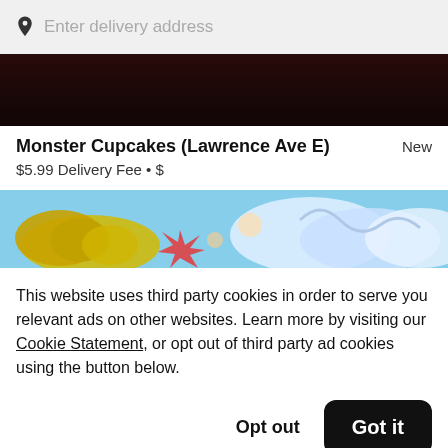Enter delivery address
[Figure (photo): Dark restaurant hero banner image]
Monster Cupcakes (Lawrence Ave E)
New
$5.99 Delivery Fee • $
[Figure (photo): Colorful cupcake/bakery image with cartoon-style decorations]
This website uses third party cookies in order to serve you relevant ads on other websites. Learn more by visiting our Cookie Statement, or opt out of third party ad cookies using the button below.
Opt out
Got it